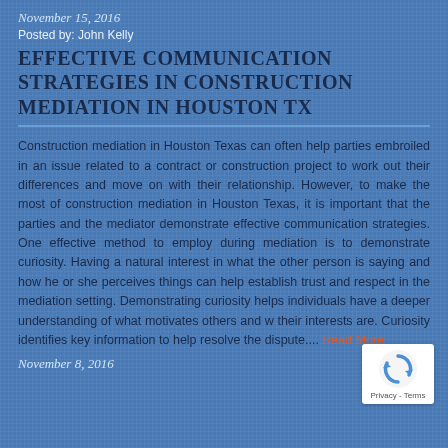November 15, 2016
Posted by: John Kelly
EFFECTIVE COMMUNICATION STRATEGIES IN CONSTRUCTION MEDIATION IN HOUSTON TX
Construction mediation in Houston Texas can often help parties embroiled in an issue related to a contract or construction project to work out their differences and move on with their relationship. However, to make the most of construction mediation in Houston Texas, it is important that the parties and the mediator demonstrate effective communication strategies. One effective method to employ during mediation is to demonstrate curiosity. Having a natural interest in what the other person is saying and how he or she perceives things can help establish trust and respect in the mediation setting. Demonstrating curiosity helps individuals have a deeper understanding of what motivates others and what their interests are. Curiosity identifies key information to help resolve the dispute.... Read More
November 8, 2016